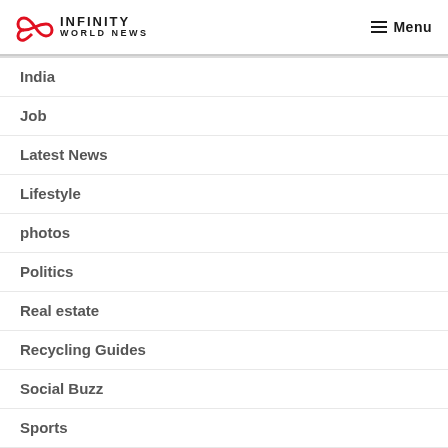INFINITY WORLD NEWS — Menu
India
Job
Latest News
Lifestyle
photos
Politics
Real estate
Recycling Guides
Social Buzz
Sports
Technology